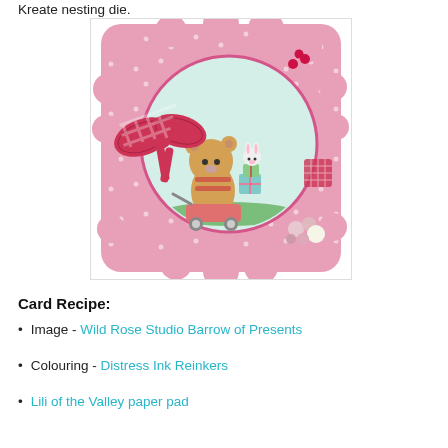Kreate nesting die.
[Figure (photo): A handmade greeting card featuring a pink polka-dot scalloped background, a circular image of a teddy bear pulling a cart of presents with a bunny on top, decorated with a red gingham bow, pink roses, and red gem embellishments.]
Card Recipe:
Image - Wild Rose Studio Barrow of Presents
Colouring - Distress Ink Reinkers
Lili of the Valley paper pad